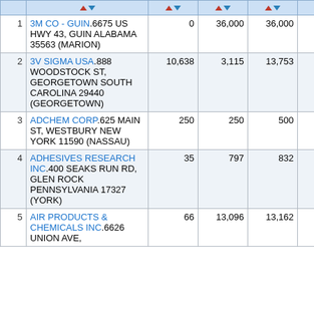| # | Facility | Col3 | Col4 | Col5 | Col6 | Col7 |
| --- | --- | --- | --- | --- | --- | --- |
| 1 | 3M CO - GUIN.6675 US HWY 43, GUIN ALABAMA 35563 (MARION) | 0 | 36,000 | 36,000 | 0 |  |
| 2 | 3V SIGMA USA.888 WOODSTOCK ST, GEORGETOWN SOUTH CAROLINA 29440 (GEORGETOWN) | 10,638 | 3,115 | 13,753 | 0 |  |
| 3 | ADCHEM CORP.625 MAIN ST, WESTBURY NEW YORK 11590 (NASSAU) | 250 | 250 | 500 | 0 |  |
| 4 | ADHESIVES RESEARCH INC.400 SEAKS RUN RD, GLEN ROCK PENNSYLVANIA 17327 (YORK) | 35 | 797 | 832 | 0 |  |
| 5 | AIR PRODUCTS & CHEMICALS INC.6626 UNION AVE, | 66 | 13,096 | 13,162 | 0 |  |